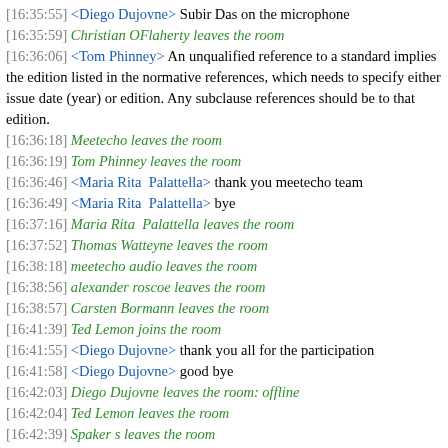[16:35:55] <Diego Dujovne> Subir Das on the microphone
[16:35:59] Christian OFlaherty leaves the room
[16:36:06] <Tom Phinney> An unqualified reference to a standard implies the edition listed in the normative references, which needs to specify either issue date (year) or edition. Any subclause references should be to that edition.
[16:36:18] Meetecho leaves the room
[16:36:19] Tom Phinney leaves the room
[16:36:46] <Maria Rita  Palattella> thank you meetecho team
[16:36:49] <Maria Rita  Palattella> bye
[16:37:16] Maria Rita  Palattella leaves the room
[16:37:52] Thomas Watteyne leaves the room
[16:38:18] meetecho audio leaves the room
[16:38:56] alexander roscoe leaves the room
[16:38:57] Carsten Bormann leaves the room
[16:41:39] Ted Lemon joins the room
[16:41:55] <Diego Dujovne> thank you all for the participation
[16:41:58] <Diego Dujovne> good bye
[16:42:03] Diego Dujovne leaves the room: offline
[16:42:04] Ted Lemon leaves the room
[16:42:39] Spaker s leaves the room
[16:43:07] Diego R Dujovne leaves the room
[16:43:37] Xavi Vilajosana leaves the room
[16:45:03] Ted Lemon joins the room
[16:45:35] Ted Lemon leaves the room